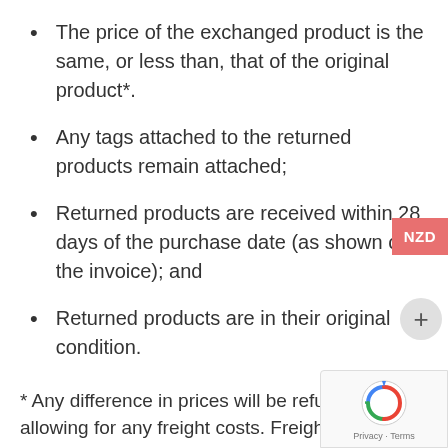The price of the exchanged product is the same, or less than, that of the original product*.
Any tags attached to the returned products remain attached;
Returned products are received within 28 days of the purchase date (as shown on the invoice); and
Returned products are in their original condition.
* Any difference in prices will be refunded, after allowing for any freight costs. Freight costs don't